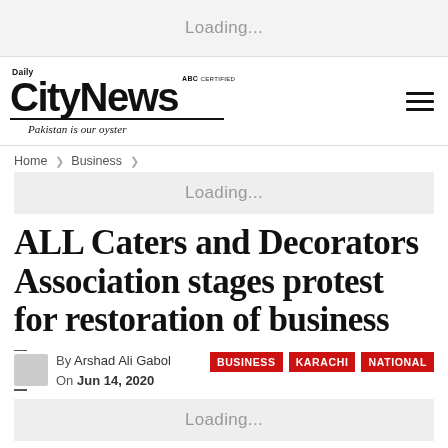Loading...
[Figure (logo): Daily CityNews logo with ABC Certified badge and tagline 'Pakistan is our oyster']
Home > Business >
Loading...
ALL Caters and Decorators Association stages protest for restoration of business
By Arshad Ali Gabol  On Jun 14, 2020  BUSINESS  KARACHI  NATIONAL
Loading...